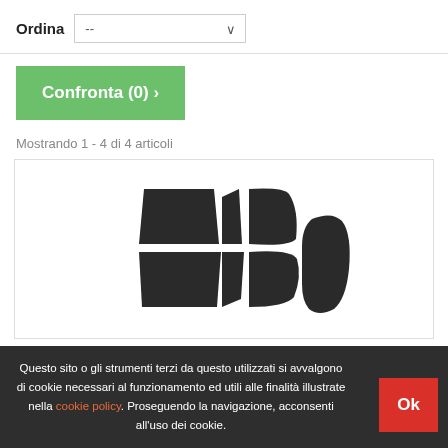Ordina --
Confronta (0) >
Mostrando 1 - 4 di 4 articoli
[Figure (photo): Product image showing car window tinting film pieces cut into shapes matching car windows — multiple dark pieces arranged in a pattern suggesting front, rear and side windows]
Questo sito o gli strumenti terzi da questo utilizzati si avvalgono di cookie necessari al funzionamento ed utili alle finalità illustrate nella cookie policy. Proseguendo la navigazione, acconsenti all'uso dei cookie.